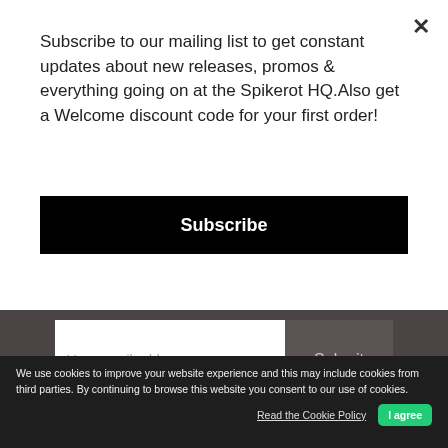Subscribe to our mailing list to get constant updates about new releases, promos & everything going on at the Spikerot HQ.Also get a Welcome discount code for your first order!
Subscribe
[Figure (screenshot): Email input field with placeholder 'Your email address' and a dark Submit button]
[Figure (logo): Spikerot Records logo in white on dark background]
We use cookies to improve your website experience and this may include cookies from third parties. By continuing to browse this website you consent to our use of cookies.
Read the Cookie Policy
I agree